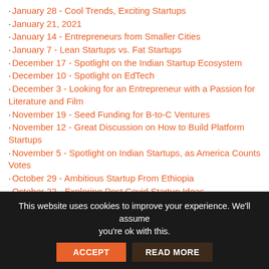January 28 - Cool Trends, Exciting Startups
January 21, 2021
January 14 - Entrepreneurs from Smaller Cities
January 7 - Lean Startups vs. Fat Startups
December 17 - Spotlight on the Indian Startup Ecosystem
December 10 - Spotlight on EdTech
December 3 - Looking for an Entrepreneur with a Passion for Literature and Film
November 19 - Seed Funding for B-to-C Ventures
November 12 - Great Discussion on How to Build Platform Startups
November 5 - Spotlight on Indian Startups, as America Counts Votes
October 29 - Ambitious Startup From Ethiopia
October 22 - Exploring Post Covid Startup Ideas
October 15 - Brainstorming Post Covid Startup Ideas
October 8 - Find Your Segment Within Large Markets
October 1 - Validate the Business Case Before Writing Code
September 24 - Dynamic Startup Discussions
This website uses cookies to improve your experience. We'll assume you're ok with this.